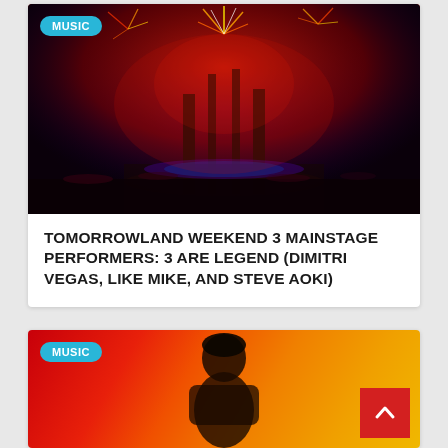[Figure (photo): Tomorrowland festival mainstage with fireworks and crowd, red and purple lighting]
TOMORROWLAND WEEKEND 3 MAINSTAGE PERFORMERS: 3 ARE LEGEND (DIMITRI VEGAS, LIKE MIKE, AND STEVE AOKI)
[Figure (photo): Music artist portrait with red and orange gradient background, MUSIC badge, and back-to-top button]